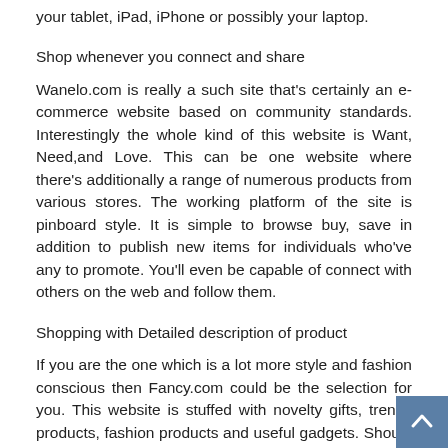your tablet, iPad, iPhone or possibly your laptop.
Shop whenever you connect and share
Wanelo.com is really a such site that's certainly an e-commerce website based on community standards. Interestingly the whole kind of this website is Want, Need,and Love. This can be one website where there's additionally a range of numerous products from various stores. The working platform of the site is pinboard style. It is simple to browse buy, save in addition to publish new items for individuals who've any to promote. You'll even be capable of connect with others on the web and follow them.
Shopping with Detailed description of product
If you are the one which is a lot more style and fashion conscious then Fancy.com could be the selection for you. This website is stuffed with novelty gifts, trendy products, fashion products and useful gadgets. Should you being an